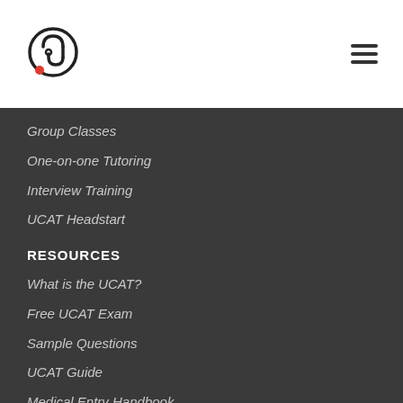[Figure (logo): Medical/UCAT tutoring logo: circular stethoscope icon with a red dot at the bottom left]
Group Classes
One-on-one Tutoring
Interview Training
UCAT Headstart
RESOURCES
What is the UCAT?
Free UCAT Exam
Sample Questions
UCAT Guide
Medical Entry Handbook
Teacher Resources
Universities Admission Guide